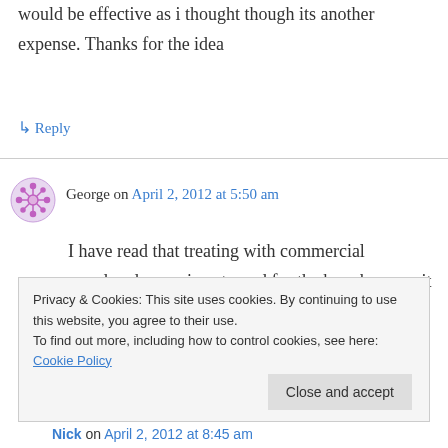would be effective as i thought though its another expense. Thanks for the idea
↳ Reply
George on April 2, 2012 at 5:50 am
I have read that treating with commercial powdered sugar is not good for the bees because it contains starch. One article even suggested making your own powdered sugar in a blender. Does anyone have any thoughts or
Privacy & Cookies: This site uses cookies. By continuing to use this website, you agree to their use.
To find out more, including how to control cookies, see here: Cookie Policy
Close and accept
Nick on April 2, 2012 at 8:45 am